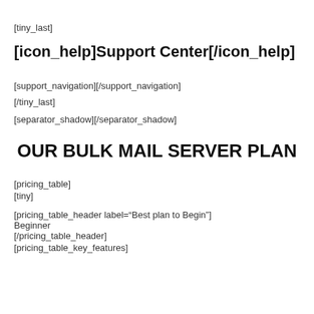[tiny_last]
[icon_help]Support Center[/icon_help]
[support_navigation][/support_navigation]
[/tiny_last]
[separator_shadow][/separator_shadow]
OUR BULK MAIL SERVER PLAN
[pricing_table]
[tiny]
[pricing_table_header label="Best plan to Begin"]
Beginner
[/pricing_table_header]
[pricing_table_key_features]